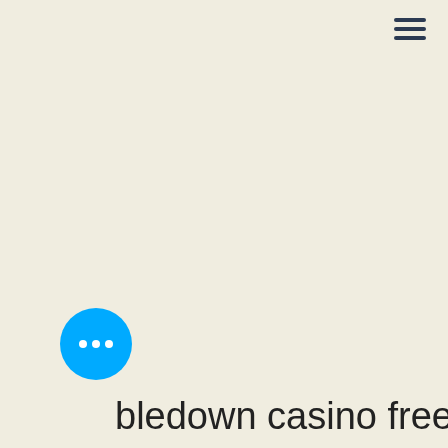[Figure (other): Hamburger menu icon (three horizontal lines) in dark navy blue, positioned in the top-right corner of the page]
[Figure (other): Blue circular chat bubble icon with three white dots, positioned in the bottom-left area of the page]
bledown casino free